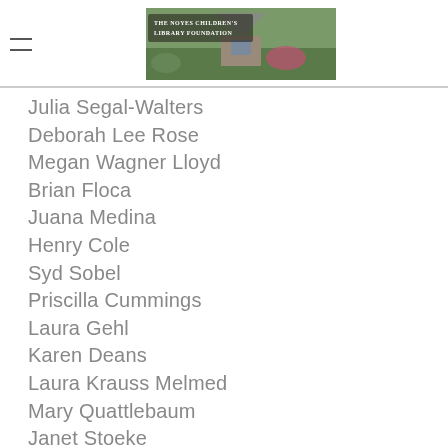The Noyes Children's Library Foundation
Julia Segal-Walters
Deborah Lee Rose
Megan Wagner Lloyd
Brian Floca
Juana Medina
Henry Cole
Syd Sobel
Priscilla Cummings
Laura Gehl
Karen Deans
Laura Krauss Melmed
Mary Quattlebaum
Janet Stoeke
Susan Stockdale
Lulu Delacre
All